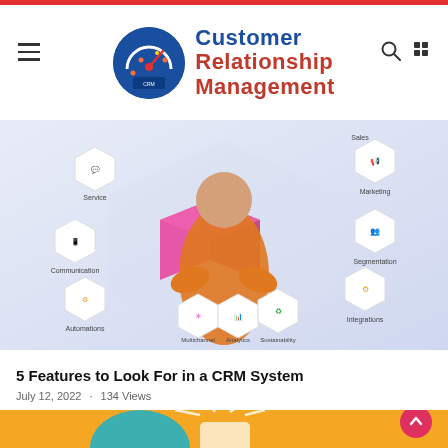Customer Relationship Management
[Figure (infographic): CRM infographic showing a woman in orange shirt with arms crossed, surrounded by hexagonal icons: Service, Communication, Automations, Multichannel, Analytics, Sustainability, Integrations, Segmentation, Marketing, Sales]
5 Features to Look For in a CRM System
July 12, 2022 · 134 Views
[Figure (illustration): Orange background illustration partially visible at the bottom of the page, with white radiating lines and what appears to be a hand holding a device]